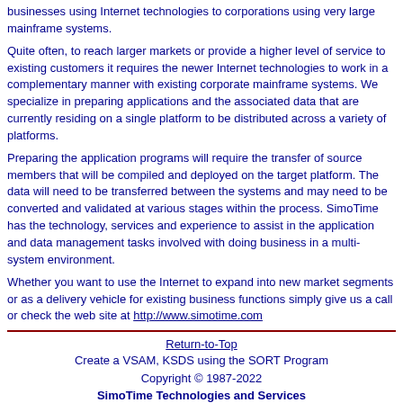businesses using Internet technologies to corporations using very large mainframe systems.
Quite often, to reach larger markets or provide a higher level of service to existing customers it requires the newer Internet technologies to work in a complementary manner with existing corporate mainframe systems. We specialize in preparing applications and the associated data that are currently residing on a single platform to be distributed across a variety of platforms.
Preparing the application programs will require the transfer of source members that will be compiled and deployed on the target platform. The data will need to be transferred between the systems and may need to be converted and validated at various stages within the process. SimoTime has the technology, services and experience to assist in the application and data management tasks involved with doing business in a multi-system environment.
Whether you want to use the Internet to expand into new market segments or as a delivery vehicle for existing business functions simply give us a call or check the web site at http://www.simotime.com
Return-to-Top
Create a VSAM, KSDS using the SORT Program
Copyright © 1987-2022
SimoTime Technologies and Services
All Rights Reserved
When technology complements business
http://www.simotime.com